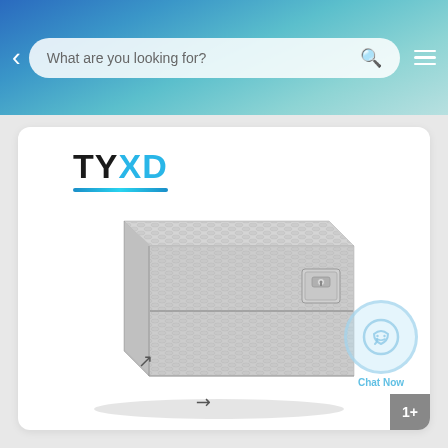What are you looking for?
[Figure (logo): TYXD brand logo with TY in black and XD in cyan/blue, with a blue underline]
[Figure (photo): Aluminum checker-plate toolbox/storage box with a locking latch on the front, shown in 3/4 perspective view on a white background]
Chat Now